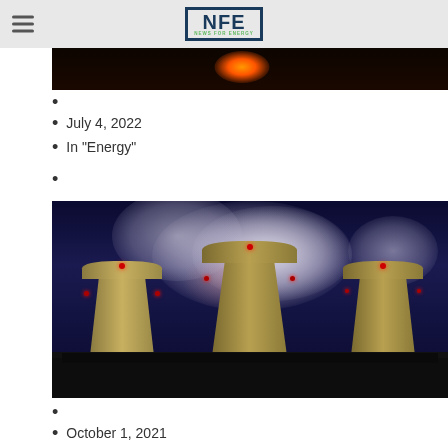NFE NEWS FOR ENERGY
[Figure (photo): Dark photo showing fire/flame against black background — top portion of article image]
July 4, 2022
In "Energy"
[Figure (photo): Night photo of three large nuclear cooling towers with steam rising and red warning lights, yellow tower bases illuminated against dark blue sky]
October 1, 2021
In "Energy"